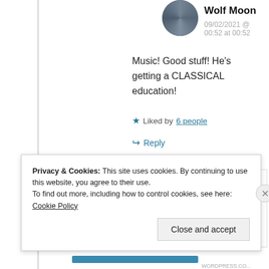Wolf Moon
09/02/2021 @ 00:52 at 00:52
Music! Good stuff! He’s getting a CLASSICAL education!
★ Liked by 6 people
↪ Reply
Privacy & Cookies: This site uses cookies. By continuing to use this website, you agree to their use.
To find out more, including how to control cookies, see here: Cookie Policy
Close and accept